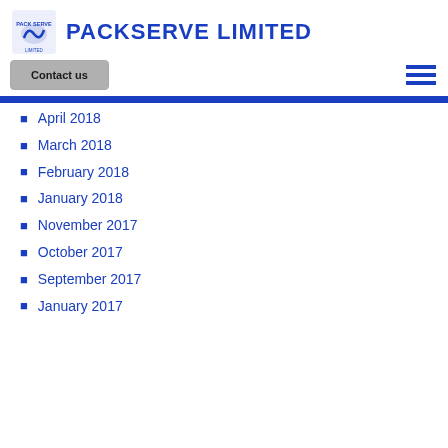PACKSERVE LIMITED
April 2018
March 2018
February 2018
January 2018
November 2017
October 2017
September 2017
January 2017